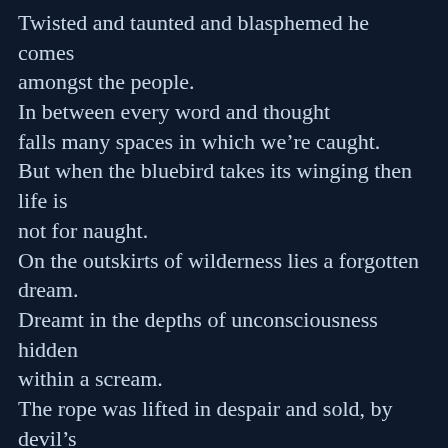Twisted and taunted and blasphemed he comes amongst the people.
In between every word and thought
falls many spaces in which we're caught.
But when the bluebird takes its winging then life is not for naught.
On the outskirts of wilderness lies a forgotten dream.
Dreamt in the depths of unconsciousness hidden within a scream.
The rope was lifted in despair and sold, by devil's bought.
They lifted us up in the air and brought us to the bringing.
Certain captions of bitter blue were thrown into the mire.
Open hearths were left not swept bringing forth a